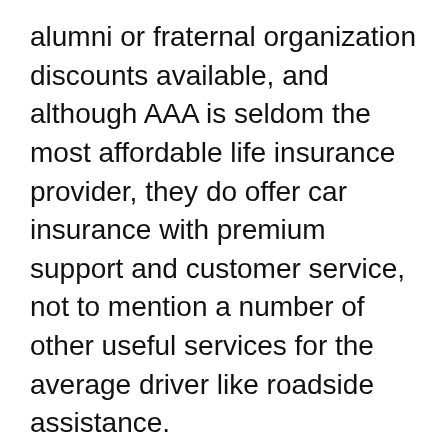alumni or fraternal organization discounts available, and although AAA is seldom the most affordable life insurance provider, they do offer car insurance with premium support and customer service, not to mention a number of other useful services for the average driver like roadside assistance.
5 Tricks For Getting Cheaper Car Insurance: